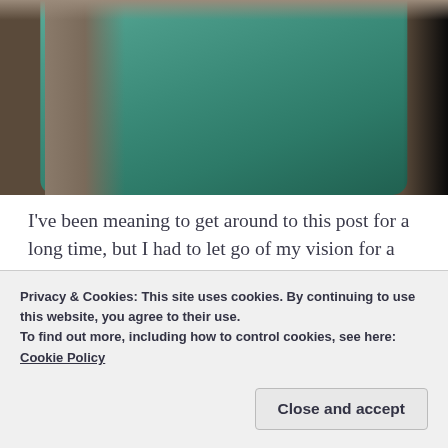[Figure (photo): Photo of a person wearing a teal/green Fair Isle knitted cardigan with snowflake pattern over dark navy trousers, cropped to show torso only]
I've been meaning to get around to this post for a long time, but I had to let go of my vision for a grand snow-related photoshoot to make it happen (in the midst of my master's thesis, that's really not realistic, even if I think this cardigan deserves a grand photoshoot). So I finally got some shots – just at home, by the
Privacy & Cookies: This site uses cookies. By continuing to use this website, you agree to their use.
To find out more, including how to control cookies, see here:
Cookie Policy
Close and accept